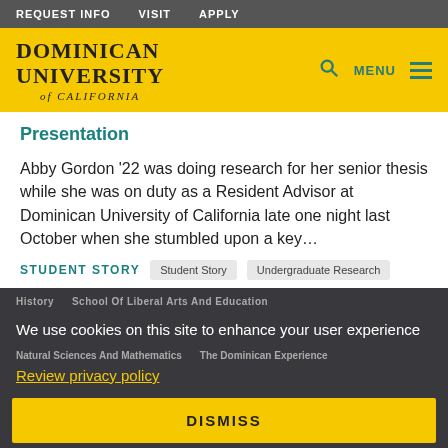REQUEST INFO  VISIT  APPLY
[Figure (logo): Dominican University of California logo with yellow background]
Presentation
Abby Gordon '22 was doing research for her senior thesis while she was on duty as a Resident Advisor at Dominican University of California late one night last October when she stumbled upon a key...
STUDENT STORY   Student Story   Undergraduate Research
History   School Of Liberal Arts And Education
We use cookies on this site to enhance your user experience
Natural Sciences And Mathematics   The Dominican Experience
Review privacy policy
DISMISS